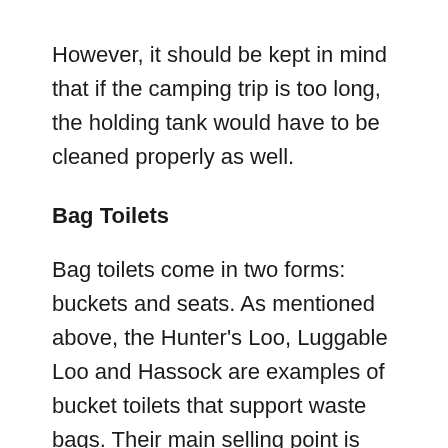However, it should be kept in mind that if the camping trip is too long, the holding tank would have to be cleaned properly as well.
Bag Toilets
Bag toilets come in two forms: buckets and seats. As mentioned above, the Hunter's Loo, Luggable Loo and Hassock are examples of bucket toilets that support waste bags. Their main selling point is that they are usually much cheaper in comparison to flush toilets. In most cases